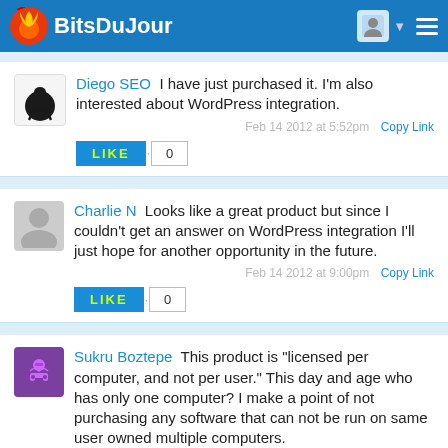BitsDuJour
Diego SEO  I have just purchased it. I'm also interested about WordPress integration.
Feb 14 2012 at 5:52pm   Copy Link
LIKE  0
Charlie N  Looks like a great product but since I couldn't get an answer on WordPress integration I'll just hope for another opportunity in the future.
Feb 14 2012 at 9:00pm   Copy Link
LIKE  0
Sukru Boztepe  This product is "licensed per computer, and not per user." This day and age who has only one computer? I make a point of not purchasing any software that can not be run on same user owned multiple computers.